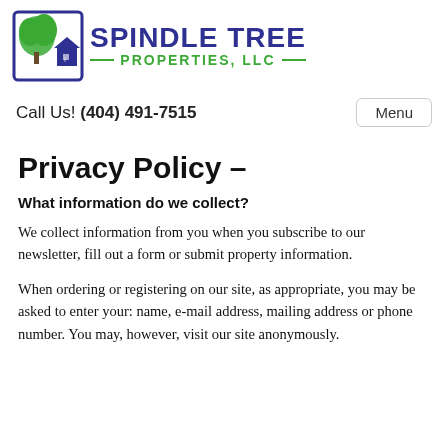[Figure (logo): Spindle Tree Properties LLC logo with tree and house icon, company name in dark blue, subtitle in green with decorative lines]
Call Us! (404) 491-7515
Menu
Privacy Policy –
What information do we collect?
We collect information from you when you subscribe to our newsletter, fill out a form or submit property information.
When ordering or registering on our site, as appropriate, you may be asked to enter your: name, e-mail address, mailing address or phone number. You may, however, visit our site anonymously.